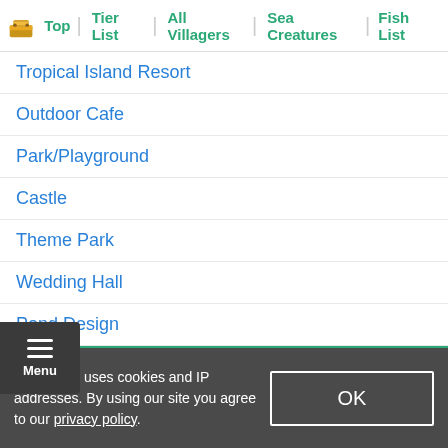Top | Tier List | All Villagers | Sea Creatures | Fish List
Tropical Island Resort
Outdoor Cafe
Park/Playground
Castle
Theme Park
Wedding Hall
Pond Design
Other Useful Guides
How To Get A 5 Star Island
GameWith uses cookies and IP addresses. By using our site you agree to our privacy policy.